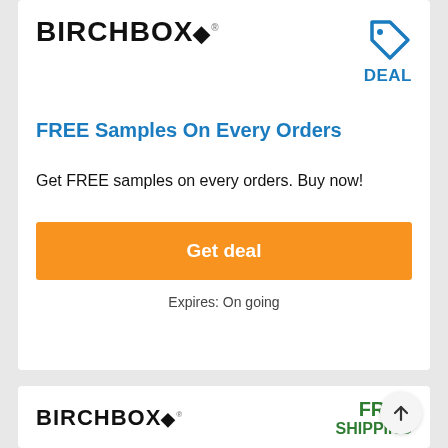[Figure (logo): Birchbox logo with diamond symbol]
[Figure (other): Deal badge with price tag icon and DEAL text in blue]
FREE Samples On Every Orders
Get FREE samples on every orders. Buy now!
Get deal
Expires: On going
[Figure (logo): Birchbox logo with diamond symbol (second card)]
FREE SHIPPING